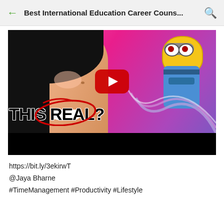Best International Education Career Couns...
[Figure (screenshot): YouTube video thumbnail showing a woman in hijab smiling on the left, a pixelated Minion character on the right with a pink/purple background, bold text 'THIS REAL?' overlaid at the bottom with a red circle around 'REAL', and a YouTube play button in the center. A black progress bar is at the very bottom of the video.]
https://bit.ly/3ekirwT
@Jaya Bharne
#TimeManagement #Productivity #Lifestyle